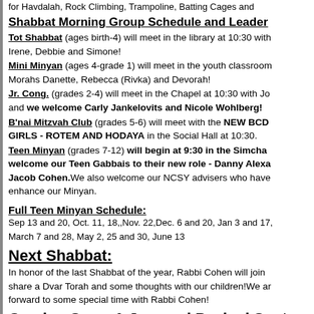for Havdalah, Rock Climbing, Trampoline, Batting Cages and
Shabbat Morning Group Schedule and Leader
Tot Shabbat (ages birth-4) will meet in the library at 10:30 with Irene, Debbie and Simone!
Mini Minyan (ages 4-grade 1) will meet in the youth classroom Morahs Danette, Rebecca (Rivka) and Devorah!
Jr. Cong. (grades 2-4) will meet in the Chapel at 10:30 with Jo and we welcome Carly Jankelovits and Nicole Wohlberg!
B'nai Mitzvah Club (grades 5-6) will meet with the NEW BCD GIRLS - ROTEM AND HODAYA in the Social Hall at 10:30.
Teen Minyan (grades 7-12) will begin at 9:30 in the Simcha welcome our Teen Gabbais to their new role - Danny Alexa Jacob Cohen. We also welcome our NCSY advisers who have enhance our Minyan.
Full Teen Minyan Schedule:
Sep 13 and 20, Oct. 11, 18,,Nov. 22,Dec. 6 and 20, Jan 3 and 17,
March 7 and 28, May 2, 25 and 30, June 13
Next Shabbat:
In honor of the last Shabbat of the year, Rabbi Cohen will join share a Dvar Torah and some thoughts with our children! We are forward to some special time with Rabbi Cohen!
Coming Soon-A Jammed Packed Sept. - Oct
Thursday & Friday, Sept 25-26 - Rock Hasher Grand H